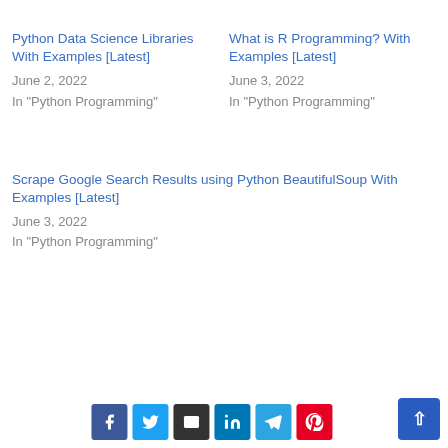Python Data Science Libraries With Examples [Latest]
June 2, 2022
In "Python Programming"
What is R Programming? With Examples [Latest]
June 3, 2022
In "Python Programming"
Scrape Google Search Results using Python BeautifulSoup With Examples [Latest]
June 3, 2022
In "Python Programming"